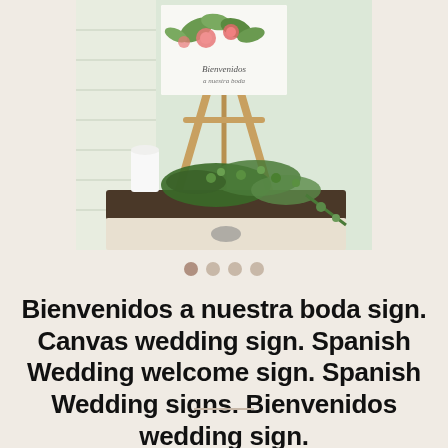[Figure (photo): A wedding welcome sign on a wooden easel with floral (pink roses and greenery) artwork at the top. Below the easel are white candles and lush green eucalyptus garland arranged on a dark wood tray on a white dresser.]
Bienvenidos a nuestra boda sign. Canvas wedding sign. Spanish Wedding welcome sign. Spanish Wedding signs. Bienvenidos wedding sign.